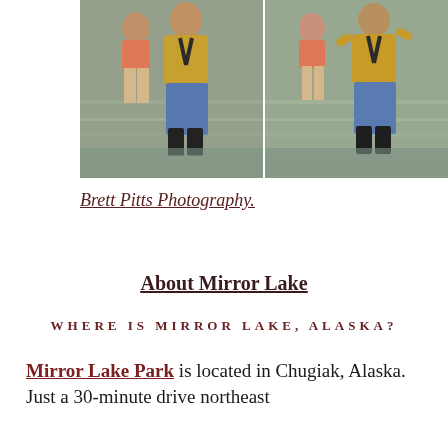[Figure (photo): Two side-by-side photos of people wading in a lake. Each shows a woman in a yellow top with black harness and blue jeans with dark boots, alongside a small child. Water surrounds them at knee level.]
Brett Pitts Photography.
About Mirror Lake
WHERE IS MIRROR LAKE, ALASKA?
Mirror Lake Park is located in Chugiak, Alaska. Just a 30-minute drive northeast